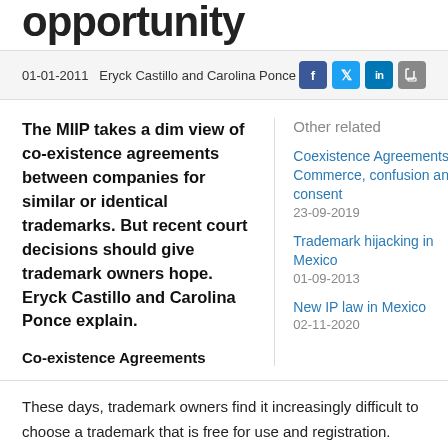opportunity
01-01-2011   Eryck Castillo and Carolina Ponce
The MIIP takes a dim view of co-existence agreements between companies for similar or identical trademarks. But recent court decisions should give trademark owners hope. Eryck Castillo and Carolina Ponce explain.
Co-existence Agreements
Other related
Coexistence Agreements: Commerce, confusion and consent
23-09-2019
Trademark hijacking in Mexico
01-09-2013
New IP law in Mexico
02-11-2020
These days, trademark owners find it increasingly difficult to choose a trademark that is free for use and registration. World commerce is more crowded, so trademark owners sometimes find that the names or signs they choose to distinguish their products or services are